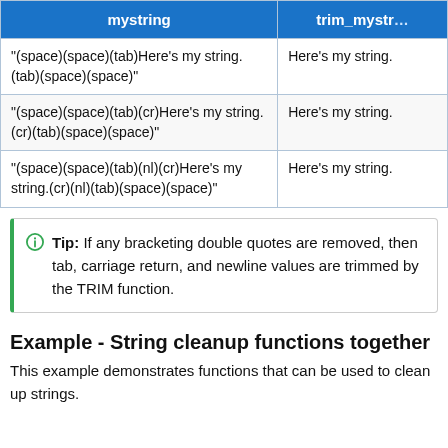| mystring | trim_mystr… |
| --- | --- |
| "(space)(space)(tab)Here's my string.(tab)(space)(space)" | Here's my string. |
| "(space)(space)(tab)(cr)Here's my string.(cr)(tab)(space)(space)" | Here's my string. |
| "(space)(space)(tab)(nl)(cr)Here's my string.(cr)(nl)(tab)(space)(space)" | Here's my string. |
Tip: If any bracketing double quotes are removed, then tab, carriage return, and newline values are trimmed by the TRIM function.
Example - String cleanup functions together
This example demonstrates functions that can be used to clean up strings.